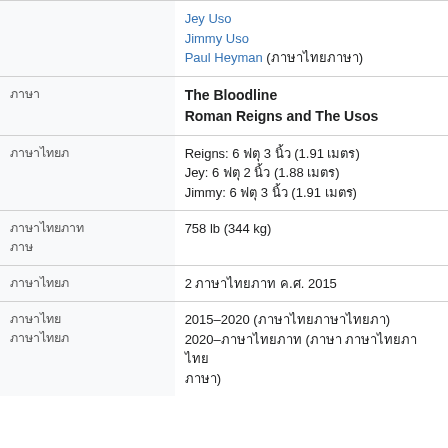| Label | Value |
| --- | --- |
|  | Jey Uso
Jimmy Uso
Paul Heyman (ภาษาไทย) |
| ภาษา | The Bloodline
Roman Reigns and The Usos |
| ภาษาไทยภ | Reigns: 6 ฟตุ 3 นิ้ว (1.91 เมตร)
Jey: 6 ฟตุ 2 นิ้ว (1.88 เมตร)
Jimmy: 6 ฟตุ 3 นิ้ว (1.91 เมตร) |
| ภาษาไทยภาท
ภาษ | 758 lb (344 kg) |
| ภาษาไทยภ | 2 ภาษาไทยภาท ค.ศ. 2015 |
| ภาษาไทย
ภาษาไทยภ | 2015–2020 (ภาษาไทยภาษาไ)
2020–ภาษาไทยภาท (ภาษา ภาษาไทยภาไท
ภาษา) |